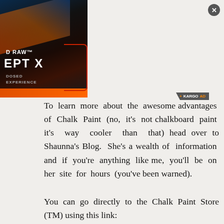[Figure (photo): Advertisement image showing a dark supplement container labeled 'D RAW' and 'EPT X' with orange and red gradient design elements and a red bracket overlay. A KARGO AD badge is visible.]
To learn more about the awesome advantages of Chalk Paint (no, it's not chalkboard paint it's way cooler than that) head over to Shaunna's Blog. She's a wealth of information and if you're anything like me, you'll be on her site for hours (you've been warned).
You can go directly to the Chalk Paint Store (TM) using this link: